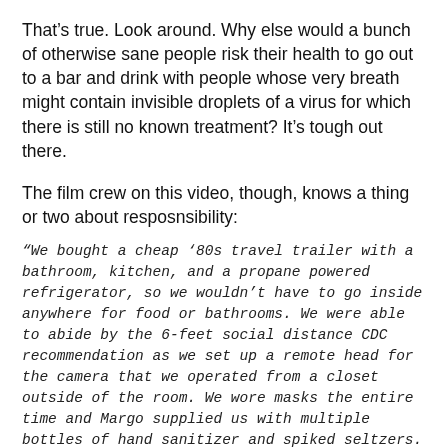That's true. Look around. Why else would a bunch of otherwise sane people risk their health to go out to a bar and drink with people whose very breath might contain invisible droplets of a virus for which there is still no known treatment? It's tough out there.
The film crew on this video, though, knows a thing or two about resposnsibility:
“We bought a cheap ’80s travel trailer with a bathroom, kitchen, and a propane powered refrigerator, so we wouldn’t have to go inside anywhere for food or bathrooms. We were able to abide by the 6-feet social distance CDC recommendation as we set up a remote head for the camera that we operated from a closet outside of the room. We wore masks the entire time and Margo supplied us with multiple bottles of hand sanitizer and spiked seltzers. We parked our RV in her driveway and worked solely out of there and the room we were filming in. We wanted to speak to what was going on at that moment, to a world that was/is shut down, to the fear we all feel, and to